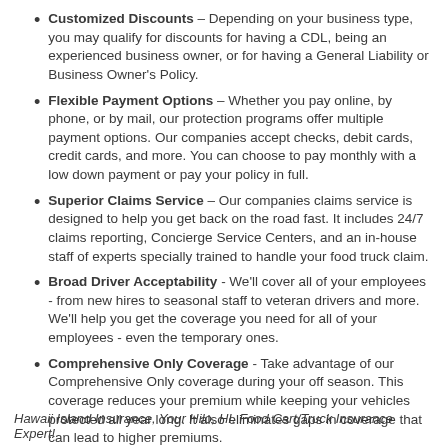Customized Discounts – Depending on your business type, you may qualify for discounts for having a CDL, being an experienced business owner, or for having a General Liability or Business Owner's Policy.
Flexible Payment Options – Whether you pay online, by phone, or by mail, our protection programs offer multiple payment options. Our companies accept checks, debit cards, credit cards, and more. You can choose to pay monthly with a low down payment or pay your policy in full.
Superior Claims Service – Our companies claims service is designed to help you get back on the road fast. It includes 24/7 claims reporting, Concierge Service Centers, and an in-house staff of experts specially trained to handle your food truck claim.
Broad Driver Acceptability - We'll cover all of your employees - from new hires to seasonal staff to veteran drivers and more. We'll help you get the coverage you need for all of your employees - even the temporary ones.
Comprehensive Only Coverage - Take advantage of our Comprehensive Only coverage during your off season. This coverage reduces your premium while keeping your vehicles protected all year long. It also eliminates gaps in coverage that can lead to higher premiums.
Hawaii Island Insurance, Your Hilo, HI. Food Cart/Truck Insurance Expert!